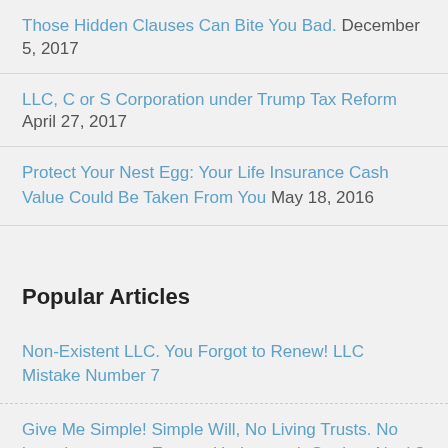Those Hidden Clauses Can Bite You Bad. December 5, 2017
LLC, C or S Corporation under Trump Tax Reform April 27, 2017
Protect Your Nest Egg: Your Life Insurance Cash Value Could Be Taken From You May 18, 2016
Popular Articles
Non-Existent LLC. You Forgot to Renew! LLC Mistake Number 7
Give Me Simple! Simple Will, No Living Trusts. No long documents. Easy to Understand. Got it or Not it? Estate Planning Mistake #3